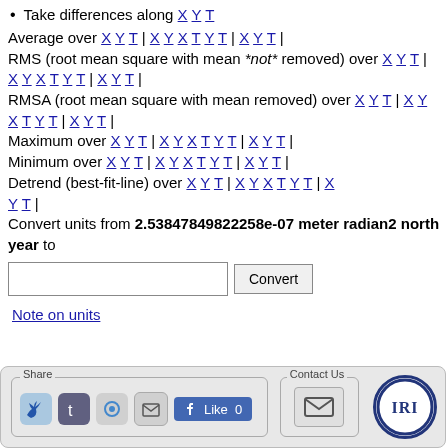Take differences along X Y T
Average over X Y T | X Y X T Y T | X Y T | RMS (root mean square with mean *not* removed) over X Y T | X Y X T Y T | X Y T | RMSA (root mean square with mean removed) over X Y T | X Y X T Y T | X Y T | Maximum over X Y T | X Y X T Y T | X Y T | Minimum over X Y T | X Y X T Y T | X Y T | Detrend (best-fit-line) over X Y T | X Y X T Y T | X Y T | Convert units from 2.53847849822258e-07 meter radian2 north year to [input] [Convert]
Note on units
[Figure (screenshot): Social sharing bar with Share group (Twitter, Tumblr, Buzz, Email, Facebook Like 0), Contact Us group with envelope icon, and IRI logo]